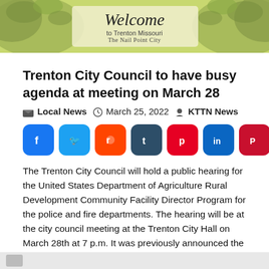[Figure (illustration): Welcome to Trenton Missouri banner with green leafy tree background and cursive Welcome text]
Trenton City Council to have busy agenda at meeting on March 28
Local News  March 25, 2022  KTTN News
[Figure (infographic): Social media share buttons: Facebook, Twitter, Reddit, Tumblr, Pinterest, LinkedIn, Parler, WhatsApp]
The Trenton City Council will hold a public hearing for the United States Department of Agriculture Rural Development Community Facility Director Program for the police and fire departments. The hearing will be at the city council meeting at the Trenton City Hall on March 28th at 7 p.m. It was previously announced the mayor and […]